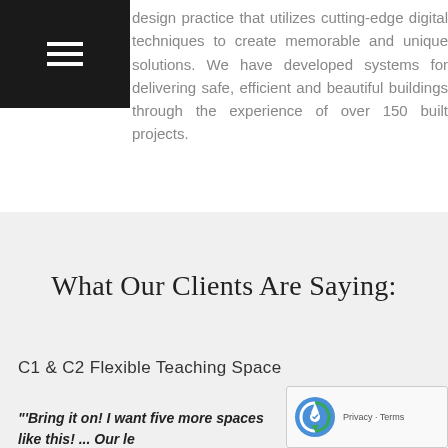[Figure (other): Black square hamburger menu icon in top-left corner]
design practice that utilizes cutting-edge digital techniques to create memorable and unique solutions. We have developed systems for delivering safe, efficient and beautiful buildings through the experience of over 150 built projects.
What Our Clients Are Saying:
C1 & C2 Flexible Teaching Space
"'Bring it on! I want five more spaces like this! ... Our le consulting architect Steve Hatzellis is superb, who oversaw